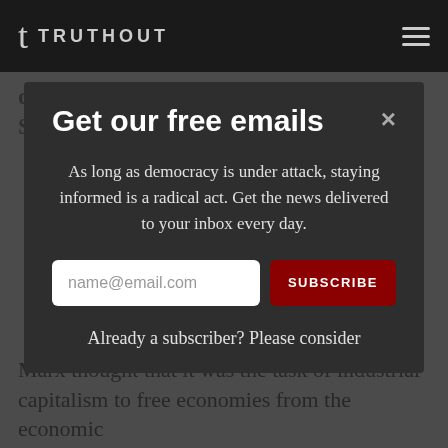TRUTHOUT
discussed. You talk about the Social Security
Get our free emails
As long as democracy is under attack, staying informed is a radical act. Get the news delivered to your inbox every day.
name@email.com   SUBSCRIBE
Already a subscriber? Please consider
Marx thought that it was the task of industrial capitalism to free economies from the economic